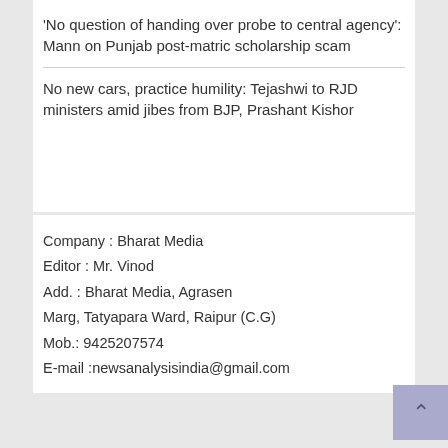'No question of handing over probe to central agency': Mann on Punjab post-matric scholarship scam
No new cars, practice humility: Tejashwi to RJD ministers amid jibes from BJP, Prashant Kishor
Company : Bharat Media
Editor : Mr. Vinod
Add. : Bharat Media, Agrasen Marg, Tatyapara Ward, Raipur (C.G)
Mob.: 9425207574
E-mail :newsanalysisindia@gmail.com